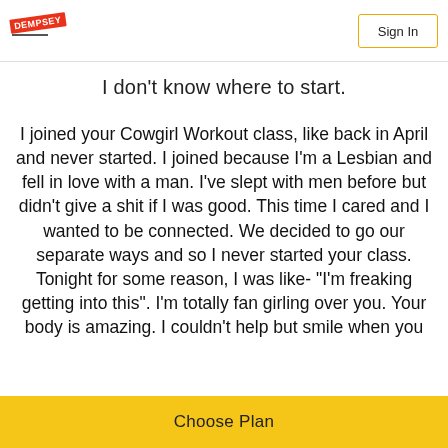Sign In
I don't know where to start.
I joined your Cowgirl Workout class, like back in April and never started. I joined because I'm a Lesbian and fell in love with a man. I've slept with men before but didn't give a shit if I was good. This time I cared and I wanted to be connected. We decided to go our separate ways and so I never started your class. Tonight for some reason, I was like- "I'm freaking getting into this". I'm totally fan girling over you. Your body is amazing. I couldn't help but smile when you
Choose Plan